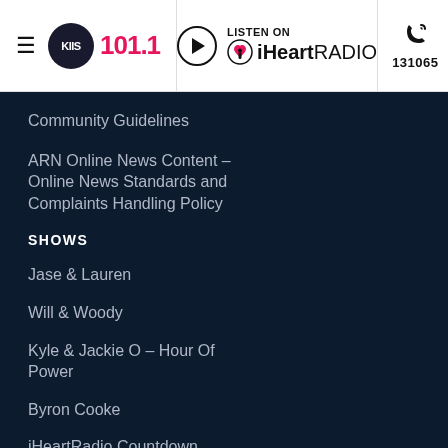[Figure (logo): KIIS 101.1 radio station header with hamburger menu, logo, iHeartRadio listen button, and phone number 131065]
Community Guidelines
ARN Online News Content – Online News Standards and Complaints Handling Policy
SHOWS
Jase & Lauren
Will & Woody
Kyle & Jackie O – Hour Of Power
Byron Cooke
iHeartRadio Countdown